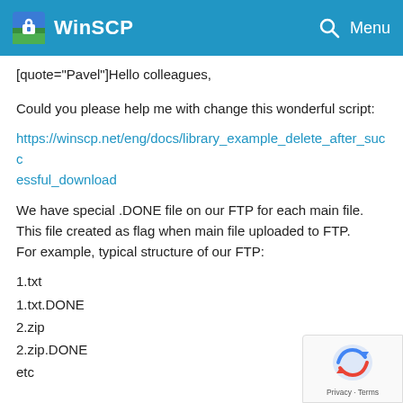WinSCP
[quote="Pavel"]Hello colleagues,
Could you please help me with change this wonderful script:
https://winscp.net/eng/docs/library_example_delete_after_successful_download
We have special .DONE file on our FTP for each main file. This file created as flag when main file uploaded to FTP.
For example, typical structure of our FTP:
1.txt
1.txt.DONE
2.zip
2.zip.DONE
etc